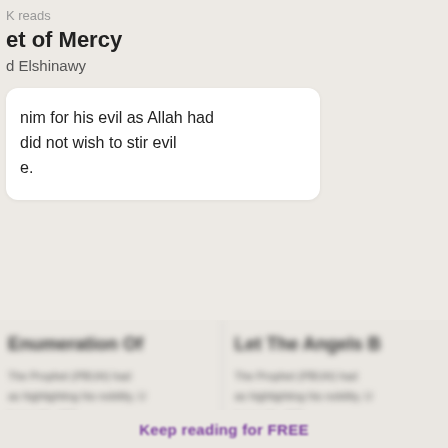K reads
et of Mercy
d Elshinawy
nim for his evil as Allah had did not wish to stir evil e.
[Figure (screenshot): Blurred content cards showing two article previews. Left card title partially visible: 'Enumeration Of'. Right card title partially visible: 'Let The Angels B'. Both cards contain blurred body text and a purple link. Bottom shows blurred CTA text 'Keep reading for FREE'.]